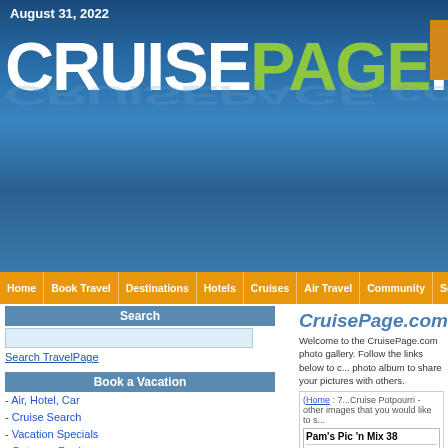August 31, 2022
CRUISEPAGE.com
Home | Book Travel | Destinations | Hotels | Cruises | Air Travel | Community | Search:
Search
Search TravelPage
Book a Vacation
- Air, Hotel, Car
- Cruise Search
- Vacation Specials
- Getaway Deals
- 800.792.0622
Book Online
Air   Hotel   Car
From: (airport)
Depart: mm/dd/yyyy
CruisePage.com
Welcome to the CruisePage.com photo gallery. Follow the links below to choose a gallery or create your own photo album to share your pictures with others.
(Home : 7...Cruise Potpourri - other images that you would like to share)
Pam's Pic 'n Mix 38
Contact User  -  Email To Friend  -  Add T...
Posted By: PamM    View all albums from...
Shippy bits 'n pieces
Click on small pictures to view full size. Hold mouse o... (Note: Some versions of Norton Internet Security softw... displayed. This is a known problem and can be correc...
[Figure (photo): Thumbnail cruise photos at bottom of page]